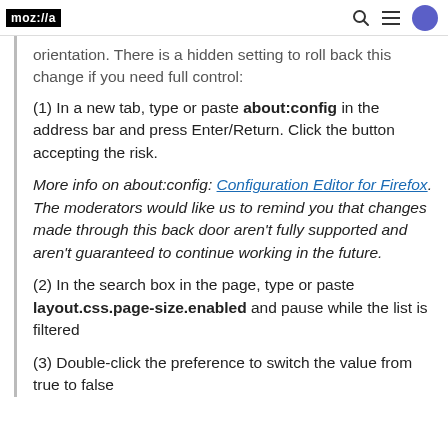moz://a
orientation. There is a hidden setting to roll back this change if you need full control:
(1) In a new tab, type or paste about:config in the address bar and press Enter/Return. Click the button accepting the risk.
More info on about:config: Configuration Editor for Firefox. The moderators would like us to remind you that changes made through this back door aren't fully supported and aren't guaranteed to continue working in the future.
(2) In the search box in the page, type or paste layout.css.page-size.enabled and pause while the list is filtered
(3) Double-click the preference to switch the value from true to false